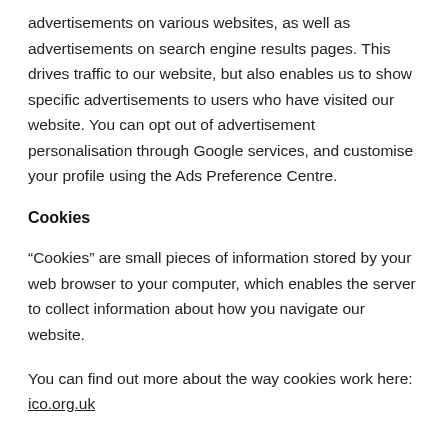advertisements on various websites, as well as advertisements on search engine results pages. This drives traffic to our website, but also enables us to show specific advertisements to users who have visited our website. You can opt out of advertisement personalisation through Google services, and customise your profile using the Ads Preference Centre.
Cookies
“Cookies” are small pieces of information stored by your web browser to your computer, which enables the server to collect information about how you navigate our website.
You can find out more about the way cookies work here: ico.org.uk